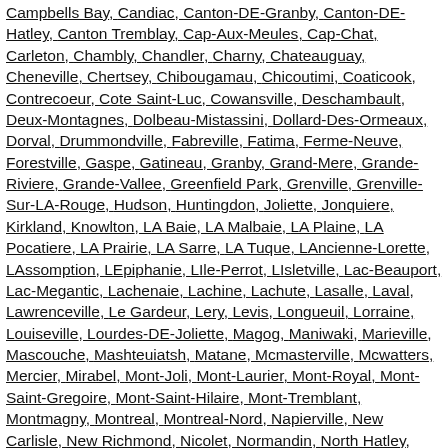Campbells Bay, Candiac, Canton-DE-Granby, Canton-DE-Hatley, Canton Tremblay, Cap-Aux-Meules, Cap-Chat, Carleton, Chambly, Chandler, Charny, Chateauguay, Cheneville, Chertsey, Chibougamau, Chicoutimi, Coaticook, Contrecoeur, Cote Saint-Luc, Cowansville, Deschambault, Deux-Montagnes, Dolbeau-Mistassini, Dollard-Des-Ormeaux, Dorval, Drummondville, Fabreville, Fatima, Ferme-Neuve, Forestville, Gaspe, Gatineau, Granby, Grand-Mere, Grande-Riviere, Grande-Vallee, Greenfield Park, Grenville, Grenville-Sur-LA-Rouge, Hudson, Huntingdon, Joliette, Jonquiere, Kirkland, Knowlton, LA Baie, LA Malbaie, LA Plaine, LA Pocatiere, LA Prairie, LA Sarre, LA Tuque, LAncienne-Lorette, LAssomption, LEpiphanie, LIle-Perrot, LIsletville, Lac-Beauport, Lac-Megantic, Lachenaie, Lachine, Lachute, Lasalle, Laval, Lawrenceville, Le Gardeur, Lery, Levis, Longueuil, Lorraine, Louiseville, Lourdes-DE-Joliette, Magog, Maniwaki, Marieville, Mascouche, Mashteuiatsh, Matane, Mcmasterville, Mcwatters, Mercier, Mirabel, Mont-Joli, Mont-Laurier, Mont-Royal, Mont-Saint-Gregoire, Mont-Saint-Hilaire, Mont-Tremblant, Montmagny, Montreal, Montreal-Nord, Napierville, New Carlisle, New Richmond, Nicolet, Normandin, North Hatley, Notre-Dame-DE-LIle-Perrot, Notre-Dame-